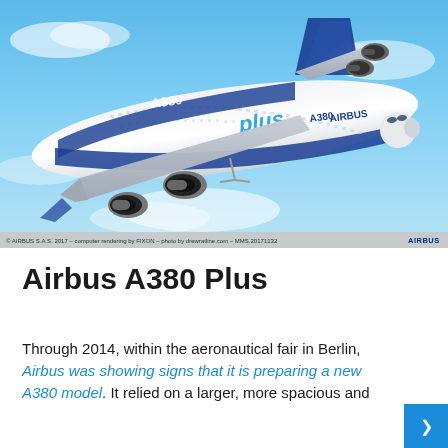[Figure (photo): Computer rendering of an Airbus A380 Plus aircraft in flight against a blue sky background. The white and blue aircraft shows 'A380 plus AIRBUS' livery. Caption bar at bottom reads: © AIRBUS S.A.S. 2017 – computer rendering by FIXON – photo by dmenaline.com – MMS.20171132 | AIRBUS]
Airbus A380 Plus
Through 2014, within the aeronautical fair in Berlin, Airbus was showing signs that it is preparing a new A380 model. It relied on a larger, more spacious and